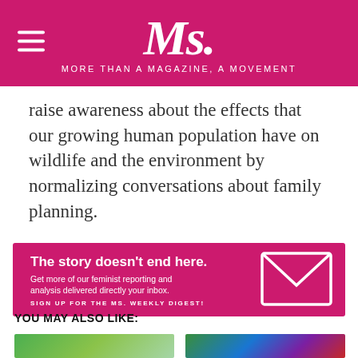Ms. MORE THAN A MAGAZINE, A MOVEMENT
raise awareness about the effects that our growing human population have on wildlife and the environment by normalizing conversations about family planning.
[Figure (infographic): Pink banner advertisement: 'The story doesn't end here. Get more of our feminist reporting and analysis delivered directly your inbox. SIGN UP FOR THE MS. WEEKLY DIGEST!' with an envelope icon on the right.]
YOU MAY ALSO LIKE:
[Figure (photo): Thumbnail photo showing green banners/signs at a rally or protest.]
[Figure (photo): Thumbnail photo showing a crowd with colorful signs at a rally or protest.]